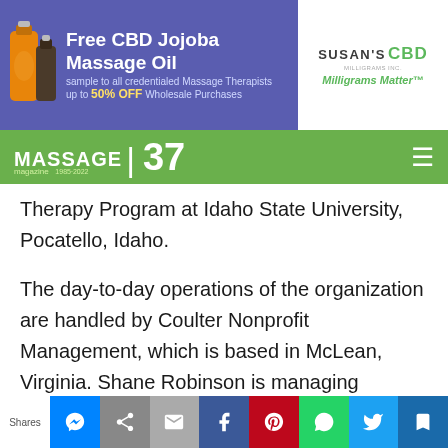[Figure (illustration): Advertisement banner for Susan's CBD Free CBD Jojoba Massage Oil, purple background with product bottles, offering sample to credentialed Massage Therapists and up to 50% OFF Wholesale Purchases]
[Figure (logo): Massage Magazine green navigation bar with logo showing MASSAGE 37 magazine and hamburger menu icon]
Therapy Program at Idaho State University, Pocatello, Idaho.
The day-to-day operations of the organization are handled by Coulter Nonprofit Management, which is based in McLean, Virginia. Shane Robinson is managing director for the Alliance; he coordinates the activities of Coulter staff who ensure a high level of customer service and responsiveness.
[Figure (infographic): Social media share bar with icons for Messenger, social share, email, Facebook, Pinterest, WhatsApp, Twitter, and save]